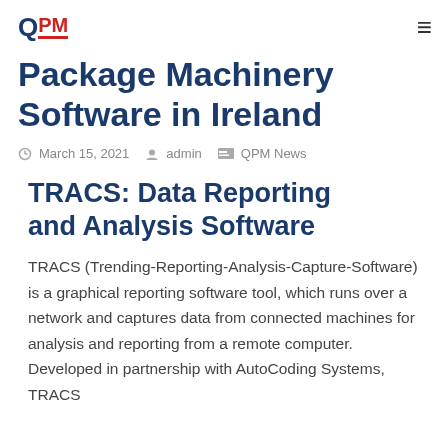QPM
Package Machinery Software in Ireland
March 15, 2021  admin  QPM News
TRACS: Data Reporting and Analysis Software
TRACS (Trending-Reporting-Analysis-Capture-Software) is a graphical reporting software tool, which runs over a network and captures data from connected machines for analysis and reporting from a remote computer. Developed in partnership with AutoCoding Systems, TRACS